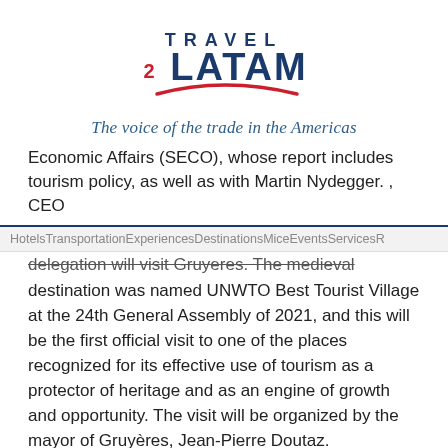[Figure (logo): Travel2Latam logo with red swoosh and blue text]
The voice of the trade in the Americas
Economic Affairs (SECO), whose report includes tourism policy, as well as with Martin Nydegger. , CEO
HotelsTransportationExperiencesDestinationsMiceEventsServicesR
delegation will visit Gruyeres. The medieval destination was named UNWTO Best Tourist Village at the 24th General Assembly of 2021, and this will be the first official visit to one of the places recognized for its effective use of tourism as a protector of heritage and as an engine of growth and opportunity. The visit will be organized by the mayor of Gruyères, Jean-Pierre Doutaz.
In line with UNWTO's focus on employment and